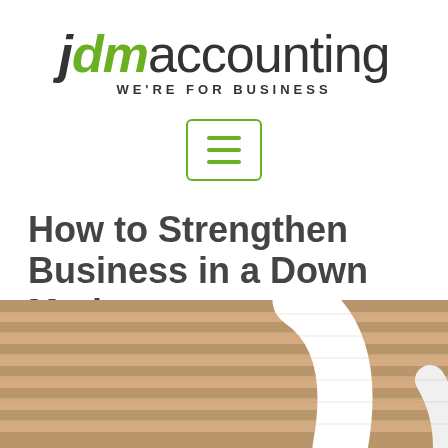[Figure (logo): JDM Accounting logo with tagline 'WE'RE FOR BUSINESS'. 'jdm' in bold italic with 'd' and 'm' in green, 'accounting' in regular weight dark text.]
[Figure (other): Hamburger menu icon inside a green-bordered rounded rectangle box]
How to Strengthen Business in a Down Market
[Figure (photo): Photo of wooden staircase steps with a white curved banister/railing, viewed from above at an angle]